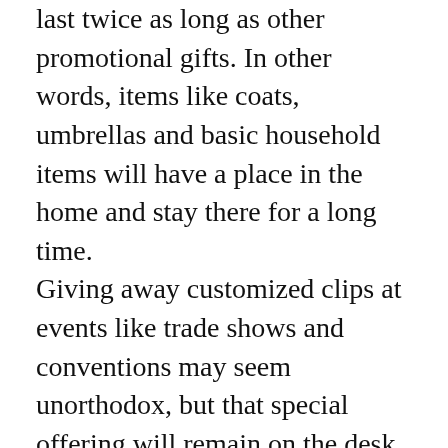last twice as long as other promotional gifts. In other words, items like coats, umbrellas and basic household items will have a place in the home and stay there for a long time. Giving away customized clips at events like trade shows and conventions may seem unorthodox, but that special offering will remain on the desk, in the pantry, or on the refrigerator door of a prospective client for an extended period of time. Every time they crave a chip or check their calendar you will build brand awareness for your products and services. As an advertiser, you want to increase your reach without spending money on various custom promotional products. Some popular promo items strongly connect with certain demographics, but may not have universal appeal; your baby boomer clients probably won't think